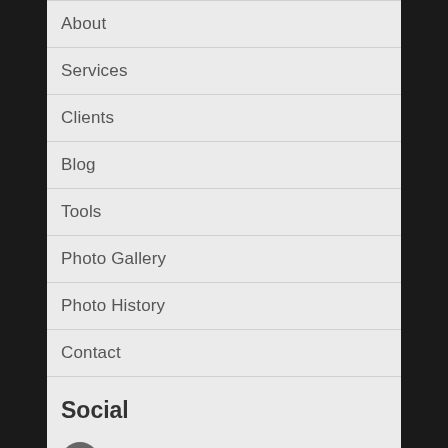About
Services
Clients
Blog
Tools
Photo Gallery
Photo History
Contact
Social
Facebook